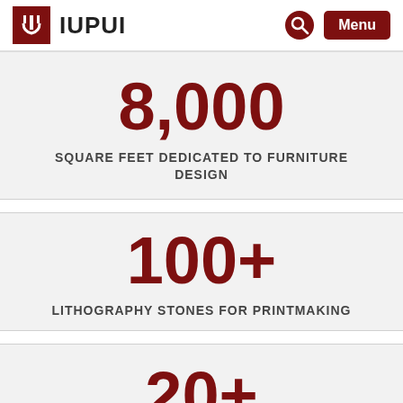IUPUI — Menu
8,000
SQUARE FEET DEDICATED TO FURNITURE DESIGN
100+
LITHOGRAPHY STONES FOR PRINTMAKING
20+